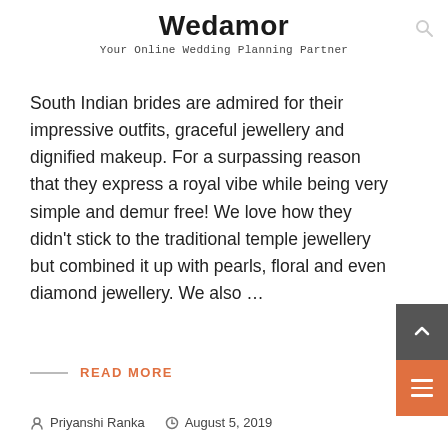Wedamor
Your Online Wedding Planning Partner
South Indian brides are admired for their impressive outfits, graceful jewellery and dignified makeup. For a surpassing reason that they express a royal vibe while being very simple and demur free! We love how they didn't stick to the traditional temple jewellery but combined it up with pearls, floral and even diamond jewellery. We also ...
READ MORE
Priyanshi Ranka   August 5, 2019